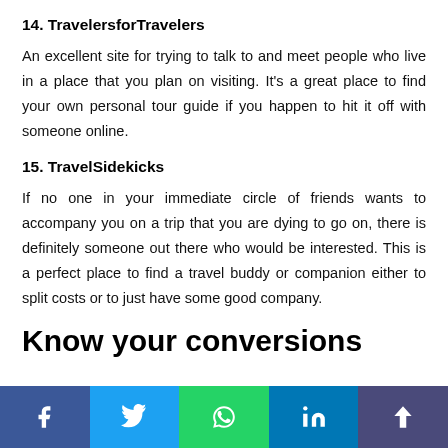14. TravelersforTravelers
An excellent site for trying to talk to and meet people who live in a place that you plan on visiting. It's a great place to find your own personal tour guide if you happen to hit it off with someone online.
15. TravelSidekicks
If no one in your immediate circle of friends wants to accompany you on a trip that you are dying to go on, there is definitely someone out there who would be interested. This is a perfect place to find a travel buddy or companion either to split costs or to just have some good company.
Know your conversions
[Figure (other): Social sharing bar with Facebook, Twitter, WhatsApp, LinkedIn, and share buttons]